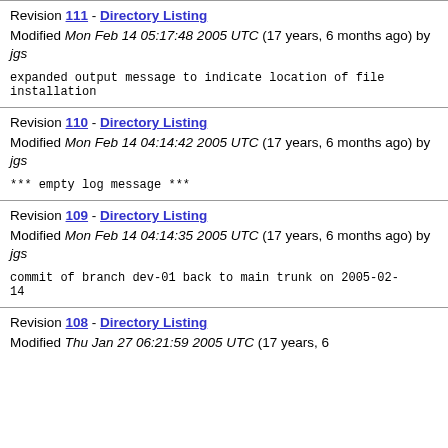Revision 111 - Directory Listing
Modified Mon Feb 14 05:17:48 2005 UTC (17 years, 6 months ago) by jgs

expanded output message to indicate location of file installation
Revision 110 - Directory Listing
Modified Mon Feb 14 04:14:42 2005 UTC (17 years, 6 months ago) by jgs

*** empty log message ***
Revision 109 - Directory Listing
Modified Mon Feb 14 04:14:35 2005 UTC (17 years, 6 months ago) by jgs

commit of branch dev-01 back to main trunk on 2005-02-14
Revision 108 - Directory Listing
Modified Thu Jan 27 06:21:59 2005 UTC (17 years, 6